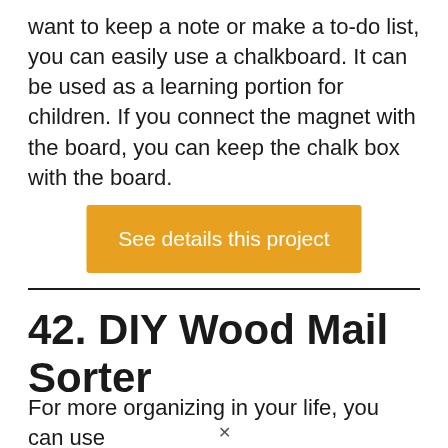want to keep a note or make a to-do list, you can easily use a chalkboard. It can be used as a learning portion for children. If you connect the magnet with the board, you can keep the chalk box with the board.
See details this project
42. DIY Wood Mail Sorter
For more organizing in your life, you can use
[Figure (other): Advertisement banner: 'Just $2 can protect 1 acre of irreplaceable forest homes in the Amazon. How many acres are you willing to protect?' with a green PROTECT FORESTS NOW button and a gorilla/forest image.]